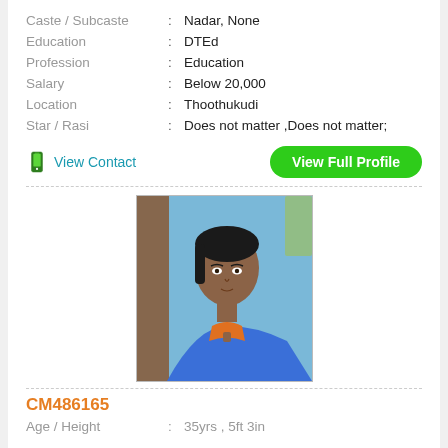| Caste / Subcaste | : | Nadar, None |
| Education | : | DTEd |
| Profession | : | Education |
| Salary | : | Below 20,000 |
| Location | : | Thoothukudi |
| Star / Rasi | : | Does not matter ,Does not matter; |
View Contact
View Full Profile
[Figure (photo): Profile photo of a woman wearing a blue and orange top, photographed against a light blue background.]
CM486165
| Age / Height | : | 35yrs , 5ft 3in |